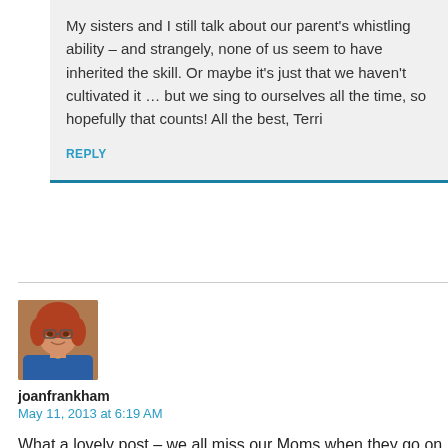My sisters and I still talk about our parent's whistling ability – and strangely, none of us seem to have inherited the skill. Or maybe it's just that we haven't cultivated it … but we sing to ourselves all the time, so hopefully that counts! All the best, Terri
REPLY
[Figure (photo): Avatar photo of a woman with reddish hair and glasses, wearing a blue top]
joanfrankham
May 11, 2013 at 6:19 AM
What a lovely post – we all miss our Moms when they go on ahead.
REPLY